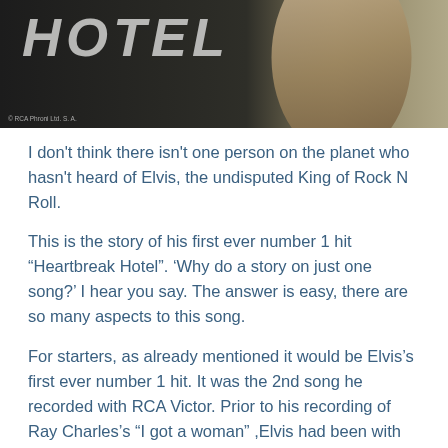[Figure (photo): Partial image of a record/album cover showing the word HOTEL in large italic letters with a figure of a person in the background. Copyright text visible at bottom left.]
I don't think there isn't one person on the planet who hasn't heard of Elvis, the undisputed King of Rock N Roll.
This is the story of his first ever number 1 hit “Heartbreak Hotel”. ‘Why do a story on just one song?’ I hear you say. The answer is easy, there are so many aspects to this song.
For starters, as already mentioned it would be Elvis’s first ever number 1 hit. It was the 2nd song he recorded with RCA Victor. Prior to his recording of Ray Charles’s “I got a woman” ,Elvis had been with Sun records.
Advertisements
[Figure (other): Green advertisement banner]